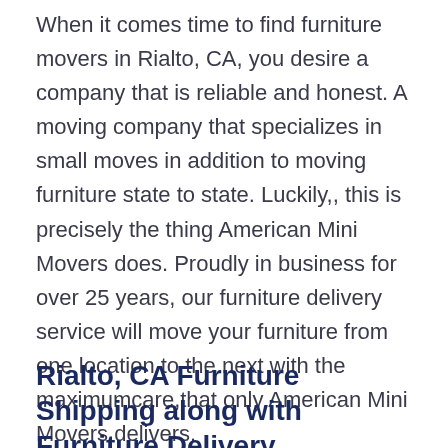When it comes time to find furniture movers in Rialto, CA, you desire a company that is reliable and honest. A moving company that specializes in small moves in addition to moving furniture state to state. Luckily,, this is precisely the thing American Mini Movers does. Proudly in business for over 25 years, our furniture delivery service will move your furniture from one location to the next with the maximumcare,that only American Mini Movers delivers.
Rialto, CA Furniture Shipping along with Furniture Delivery